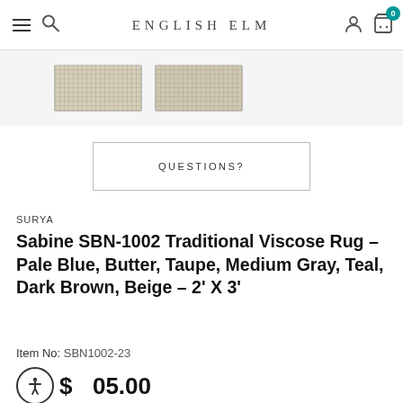ENGLISH ELM
[Figure (photo): Two rug fabric sample thumbnails showing beige/taupe woven texture]
QUESTIONS?
SURYA
Sabine SBN-1002 Traditional Viscose Rug - Pale Blue, Butter, Taupe, Medium Gray, Teal, Dark Brown, Beige - 2' X 3'
Item No: SBN1002-23
$105.00